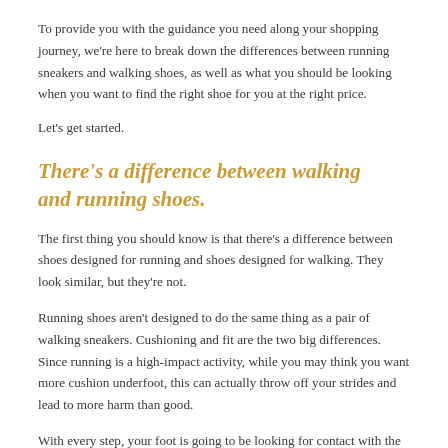To provide you with the guidance you need along your shopping journey, we're here to break down the differences between running sneakers and walking shoes, as well as what you should be looking when you want to find the right shoe for you at the right price.
Let's get started.
There's a difference between walking and running shoes.
The first thing you should know is that there's a difference between shoes designed for running and shoes designed for walking. They look similar, but they're not.
Running shoes aren't designed to do the same thing as a pair of walking sneakers. Cushioning and fit are the two big differences. Since running is a high-impact activity, while you may think you want more cushion underfoot, this can actually throw off your strides and lead to more harm than good.
With every step, your foot is going to be looking for contact with the actual ground, this means it's forcing its way through